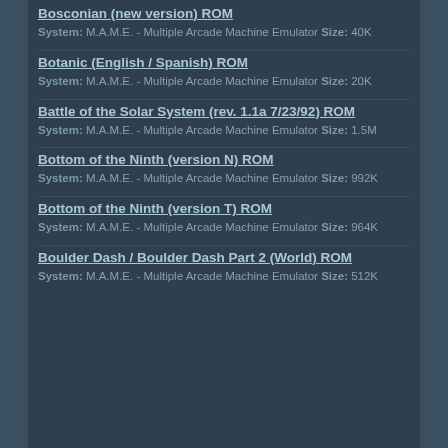Bosconian (new version) ROM
System: M.A.M.E. - Multiple Arcade Machine Emulator Size: 40K
Botanic (English / Spanish) ROM
System: M.A.M.E. - Multiple Arcade Machine Emulator Size: 20K
Battle of the Solar System (rev. 1.1a 7/23/92) ROM
System: M.A.M.E. - Multiple Arcade Machine Emulator Size: 1.5M
Bottom of the Ninth (version N) ROM
System: M.A.M.E. - Multiple Arcade Machine Emulator Size: 992K
Bottom of the Ninth (version T) ROM
System: M.A.M.E. - Multiple Arcade Machine Emulator Size: 964K
Boulder Dash / Boulder Dash Part 2 (World) ROM
System: M.A.M.E. - Multiple Arcade Machine Emulator Size: 512K